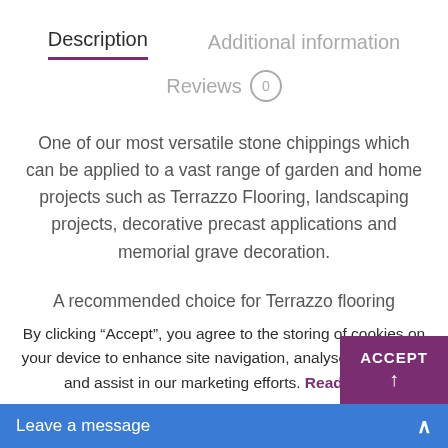Description
Additional information
Reviews 0
One of our most versatile stone chippings which can be applied to a vast range of garden and home projects such as Terrazzo Flooring, landscaping projects, decorative precast applications and memorial grave decoration.
A recommended choice for Terrazzo flooring
By clicking “Accept”, you agree to the storing of cookies on your device to enhance site navigation, analyse site usage, and assist in our marketing efforts. Read More
ACCEPT
Leave a message